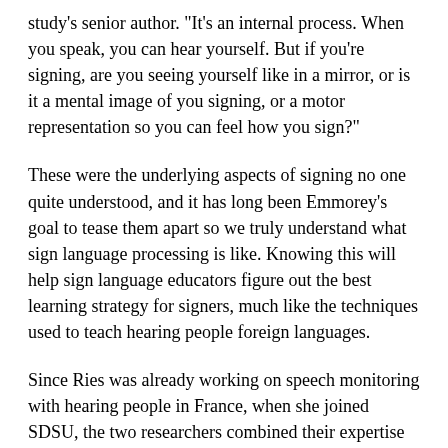study's senior author. "It's an internal process. When you speak, you can hear yourself. But if you're signing, are you seeing yourself like in a mirror, or is it a mental image of you signing, or a motor representation so you can feel how you sign?"
These were the underlying aspects of signing no one quite understood, and it has long been Emmorey's goal to tease them apart so we truly understand what sign language processing is like. Knowing this will help sign language educators figure out the best learning strategy for signers, much like the techniques used to teach hearing people foreign languages.
Since Ries was already working on speech monitoring with hearing people in France, when she joined SDSU, the two researchers combined their expertise to study sign monitoring in hearing and deaf people.